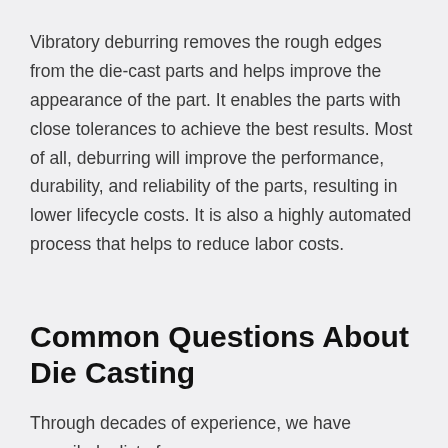Vibratory deburring removes the rough edges from the die-cast parts and helps improve the appearance of the part. It enables the parts with close tolerances to achieve the best results. Most of all, deburring will improve the performance, durability, and reliability of the parts, resulting in lower lifecycle costs. It is also a highly automated process that helps to reduce labor costs.
Common Questions About Die Casting
Through decades of experience, we have compiled a list of